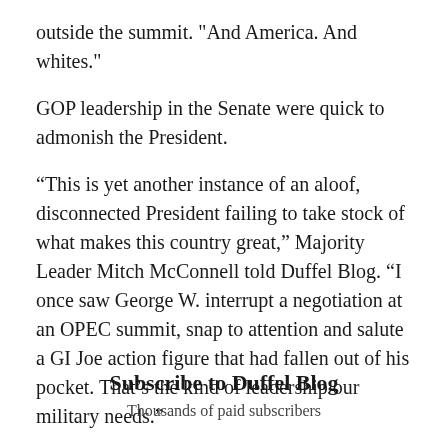outside the summit. "And America. And whites."
GOP leadership in the Senate were quick to admonish the President.
“This is yet another instance of an aloof, disconnected President failing to take stock of what makes this country great,” Majority Leader Mitch McConnell told Duffel Blog. “I once saw George W. interrupt a negotiation at an OPEC summit, snap to attention and salute a GI Joe action figure that had fallen out of his pocket. That’s the kind of leadership our military needs.”
Subscribe to Duffel Blog
Thousands of paid subscribers